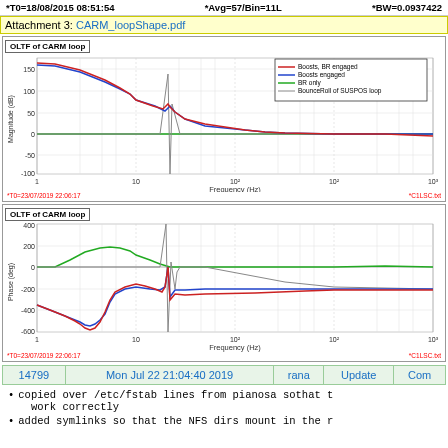*T0=18/08/2015 08:51:54   *Avg=57/Bin=11L   *BW=0.0937422
Attachment 3: CARM_loopShape.pdf
[Figure (continuous-plot): OLTF of CARM loop - Bode magnitude plot showing curves for: Boosts, BR engaged (red); Boosts engaged (blue); BR only (green); BounceRoll of SUSPOS loop (brown/gray). X-axis: Frequency (Hz), log scale 1 to 10^3. Y-axis: Magnitude (dB), range -100 to ~175.]
[Figure (continuous-plot): OLTF of CARM loop - Bode phase plot showing curves for: Boosts, BR engaged (red); Boosts engaged (blue); BR only (green); BounceRoll of SUSPOS loop (brown/gray). X-axis: Frequency (Hz), log scale 1 to 10^3. Y-axis: Phase (deg), range -600 to 400.]
| 14799 | Mon Jul 22 21:04:40 2019 | rana | Update | Com |
| --- | --- | --- | --- | --- |
copied over /etc/fstab lines from pianosa sothat t work correctly
added symlinks so that the NFS dirs mount in the r